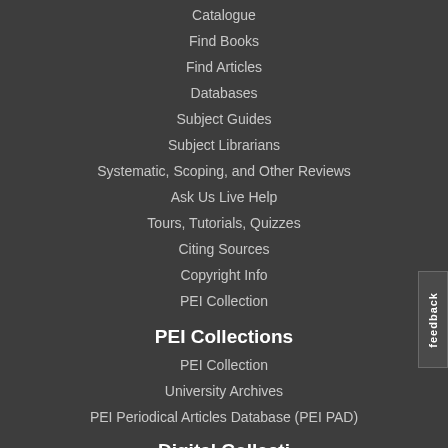Catalogue
Find Books
Find Articles
Databases
Subject Guides
Subject Librarians
Systematic, Scoping, and Other Reviews
Ask Us Live Help
Tours, Tutorials, Quizzes
Citing Sources
Copyright Info
PEI Collection
PEI Collections
PEI Collection
University Archives
PEI Periodical Articles Database (PEI PAD)
Digital Collecti...